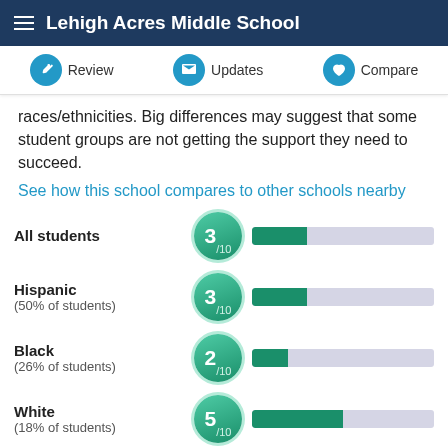Lehigh Acres Middle School
Review   Updates   Compare
races/ethnicities. Big differences may suggest that some student groups are not getting the support they need to succeed.
See how this school compares to other schools nearby
[Figure (infographic): Rating bars for student groups at Lehigh Acres Middle School. All students: 3/10, Hispanic (50% of students): 3/10, Black (26% of students): 2/10, White (18% of students): 5/10, and a partially visible row at bottom.]